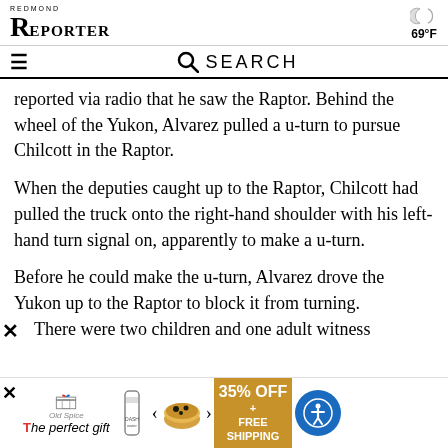REDMOND REPORTER  69°F
☰  🔍 SEARCH
reported via radio that he saw the Raptor. Behind the wheel of the Yukon, Alvarez pulled a u-turn to pursue Chilcott in the Raptor.
When the deputies caught up to the Raptor, Chilcott had pulled the truck onto the right-hand shoulder with his left-hand turn signal on, apparently to make a u-turn.
Before he could make the u-turn, Alvarez drove the Yukon up to the Raptor to block it from turning. There were two children and one adult witness